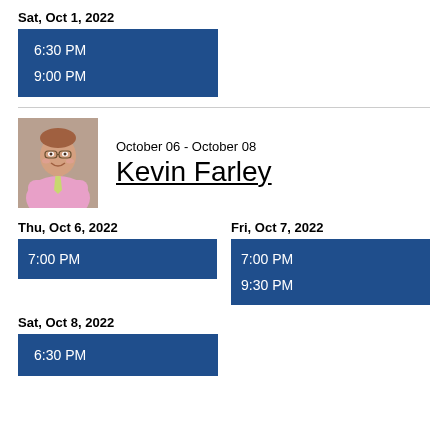Sat, Oct 1, 2022
6:30 PM
9:00 PM
[Figure (photo): Headshot photo of Kevin Farley, a man in a pink shirt and tie with arms crossed, smiling]
October 06 - October 08
Kevin Farley
Thu, Oct 6, 2022
7:00 PM
Fri, Oct 7, 2022
7:00 PM
9:30 PM
Sat, Oct 8, 2022
6:30 PM